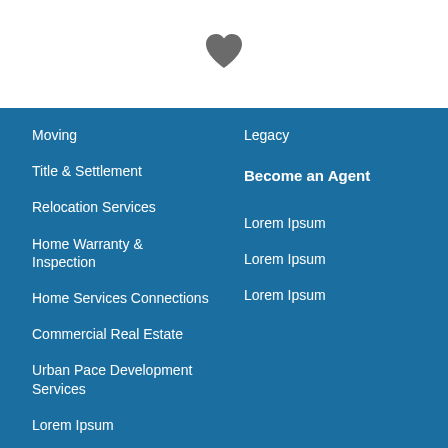[Figure (illustration): Heart icon centered in white header area]
Moving
Title & Settlement
Relocation Services
Home Warranty & Inspection
Home Services Connections
Commercial Real Estate
Urban Pace Development Services
Lorem Ipsum
Lorem Ipsum
Lorem Ipsum
Legacy
Become an Agent
Lorem Ipsum
Lorem Ipsum
Lorem Ipsum